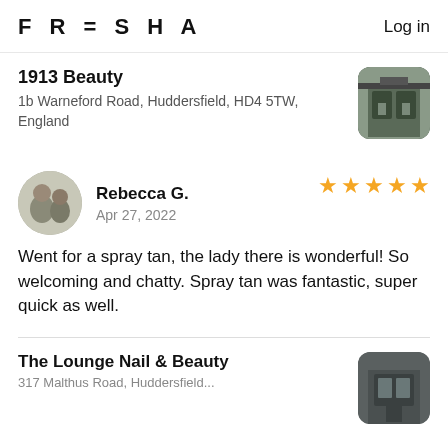FRESHA   Log in
1913 Beauty
1b Warneford Road, Huddersfield, HD4 5TW, England
Rebecca G.
Apr 27, 2022
Went for a spray tan, the lady there is wonderful! So welcoming and chatty. Spray tan was fantastic, super quick as well.
The Lounge Nail & Beauty